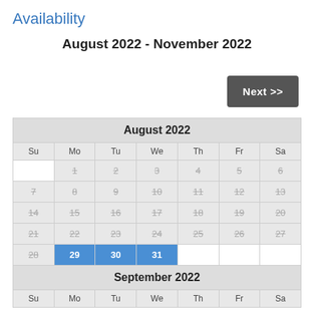Availability
August 2022 - November 2022
| Su | Mo | Tu | We | Th | Fr | Sa |
| --- | --- | --- | --- | --- | --- | --- |
|  | 1 | 2 | 3 | 4 | 5 | 6 |
| 7 | 8 | 9 | 10 | 11 | 12 | 13 |
| 14 | 15 | 16 | 17 | 18 | 19 | 20 |
| 21 | 22 | 23 | 24 | 25 | 26 | 27 |
| 28 | 29 | 30 | 31 |  |  |  |
September 2022
| Su | Mo | Tu | We | Th | Fr | Sa |
| --- | --- | --- | --- | --- | --- | --- |